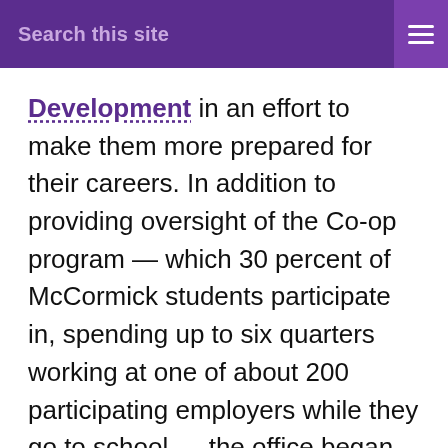Search this site
Development in an effort to make them more prepared for their careers. In addition to providing oversight of the Co-op program — which 30 percent of McCormick students participate in, spending up to six quarters working at one of about 200 participating employers while they go to school — the office began offering internship listings and a new course called Introduction to Career Development, which is now a requirement for students who want to participate in an internship or in the co-op program. Nearly 300 students took the course last school year. Now,